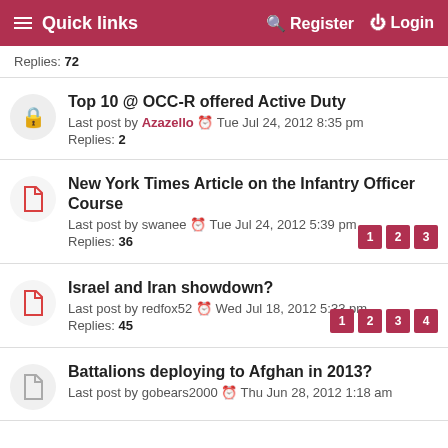Quick links   Register   Login
Replies: 72
Top 10 @ OCC-R offered Active Duty
Last post by Azazello  Tue Jul 24, 2012 8:35 pm
Replies: 2
New York Times Article on the Infantry Officer Course
Last post by swanee  Tue Jul 24, 2012 5:39 pm
Replies: 36
Pages: 1 2 3
Israel and Iran showdown?
Last post by redfox52  Wed Jul 18, 2012 5:33 pm
Replies: 45
Pages: 1 2 3 4
Battalions deploying to Afghan in 2013?
Last post by gobears2000  Thu Jun 28, 2012 1:18 am